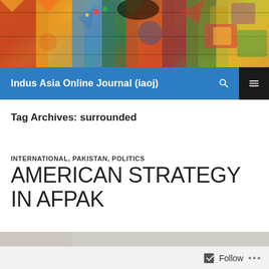[Figure (photo): Colorful traditional South Asian textiles, fabrics, and decorative items displayed together — a vibrant market or bazaar scene with patterned cloth, cushions, and crafts in reds, oranges, greens, blues, and yellows.]
Indus Asia Online Journal (iaoj)
Tag Archives: surrounded
INTERNATIONAL, PAKISTAN, POLITICS
AMERICAN STRATEGY IN AFPAK
13/03/2012   LEAVE A COMMENT